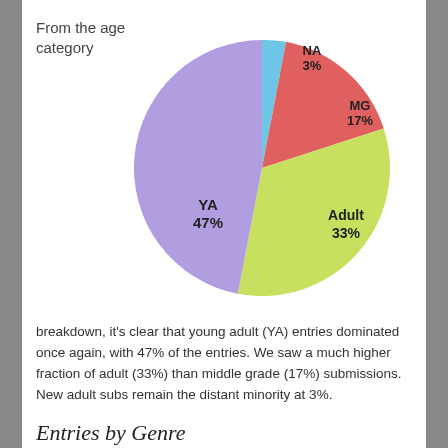From the age category
[Figure (pie-chart): Age Category Breakdown]
breakdown, it’s clear that young adult (YA) entries dominated once again, with 47% of the entries. We saw a much higher fraction of adult (33%) than middle grade (17%) submissions. New adult subs remain the distant minority at 3%.
Entries by Genre